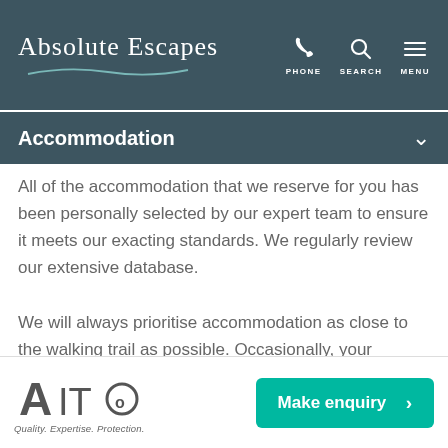Absolute Escapes | PHONE SEARCH MENU
Accommodation
All of the accommodation that we reserve for you has been personally selected by our expert team to ensure it meets our exacting standards. We regularly review our extensive database.
We will always prioritise accommodation as close to the walking trail as possible. Occasionally, your accommodation may be located a short distance from the trail, or you may
[Figure (logo): AITO logo with tagline Quality. Expertise. Protection.]
Make enquiry >